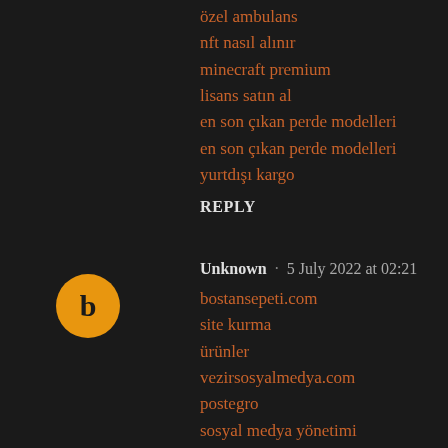özel ambulans
nft nasıl alınır
minecraft premium lisans satın al
en son çıkan perde modelleri
en son çıkan perde modelleri
yurtdışı kargo
REPLY
Unknown · 5 July 2022 at 02:21
bostansepeti.com
site kurma
ürünler
vezirsosyalmedya.com
postegro
sosyal medya yönetimi
surucukursuburada.com
REPLY